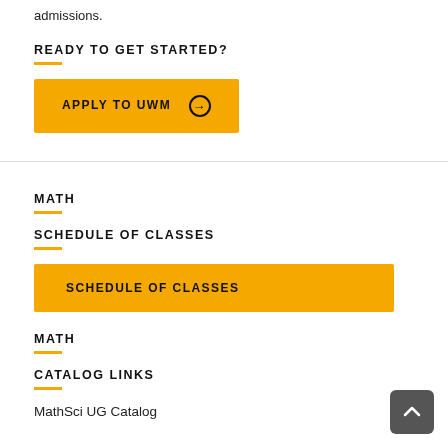admissions.
READY TO GET STARTED?
APPLY TO UWM ⊕
MATH
SCHEDULE OF CLASSES
SCHEDULE OF CLASSES
MATH
CATALOG LINKS
MathSci UG Catalog